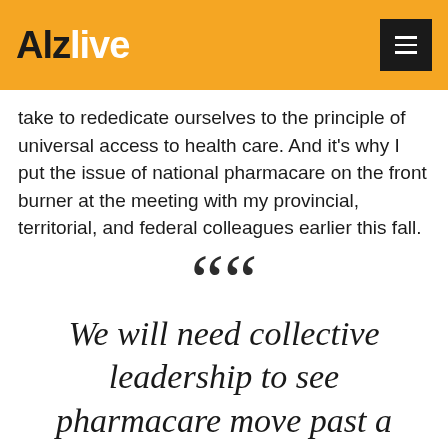Alzlive
take to rededicate ourselves to the principle of universal access to health care. And it's why I put the issue of national pharmacare on the front burner at the meeting with my provincial, territorial, and federal colleagues earlier this fall.
We will need collective leadership to see pharmacare move past a pipe dream.